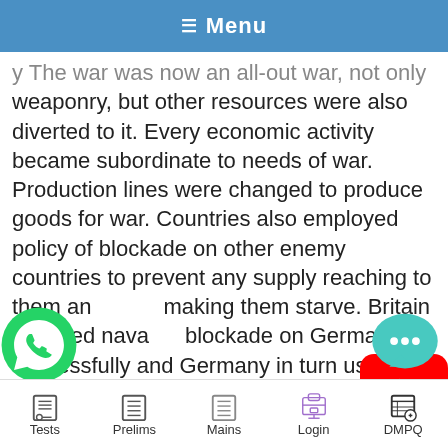☰ Menu
y The war was now an all-out war, not only weaponry, but other resources were also diverted to it. Every economic activity became subordinate to needs of war. Production lines were changed to produce goods for war. Countries also employed policy of blockade on other enemy countries to prevent any supply reaching to them and making them starve. Britain imposed naval blockade on Germany successfully and Germany in turn used U Boats for the first time to prevent supplies reaching to Britain. Often, these U Boats sank ships of neutral countries also and one of these also sank
Tests | Prelims | Mains | Login | DMPQ